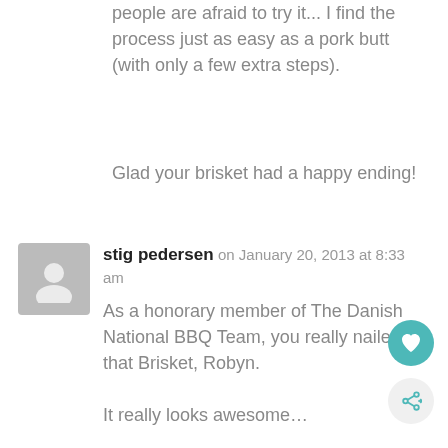people are afraid to try it... I find the process just as easy as a pork butt (with only a few extra steps).
Glad your brisket had a happy ending!
stig pedersen on January 20, 2013 at 8:33 am
As a honorary member of The Danish National BBQ Team, you really nailed that Brisket, Robyn.

It really looks awesome…

Maybe someday i will be the guest blogger at your blog ? if i shape up and get better at this BBQ stuff ???

Greetings from Denmark, to you – your